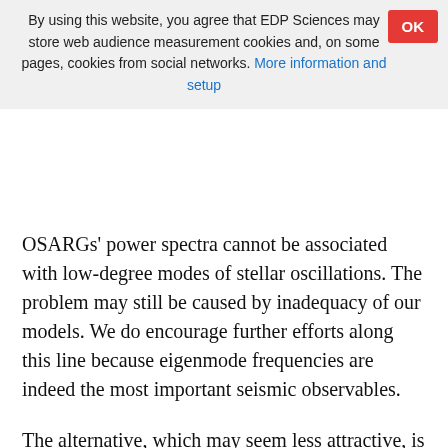By using this website, you agree that EDP Sciences may store web audience measurement cookies and, on some pages, cookies from social networks. More information and setup
OSARGs' power spectra cannot be associated with low-degree modes of stellar oscillations. The problem may still be caused by inadequacy of our models. We do encourage further efforts along this line because eigenmode frequencies are indeed the most important seismic observables.
The alternative, which may seem less attractive, is that the peaks are not caused by stellar normal mode excitation. Most of narrow peaks in red giants' power spectra from the space missions have not been associated with stellar modes either. However, even if this is so, the data on red giant variability remain of considerable interest for stellar physics. They certainly